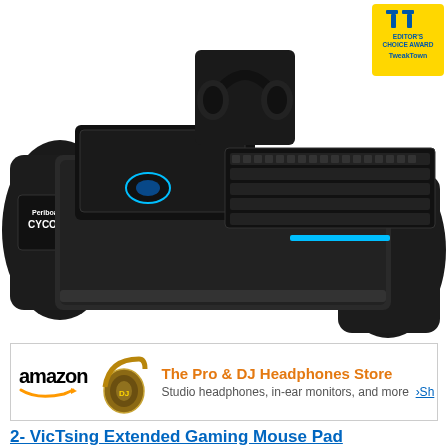[Figure (photo): Gaming lapboard product photo - Periboard Cycon gaming lapboard with keyboard, mouse, and headphones on top. Has armrests/pouches on both sides. TweakTown Editor's Choice Award badge in top right corner.]
[Figure (photo): Amazon advertisement banner showing gold DJ headphones, amazon logo, and text 'The Pro & DJ Headphones Store - Studio headphones, in-ear monitors, and more']
2- VicTsing Extended Gaming Mouse Pad